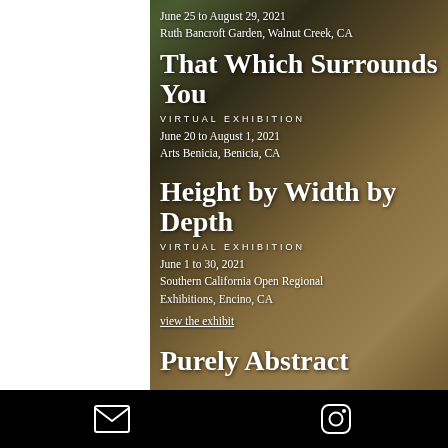June 25 to August 29, 2021
Ruth Bancroft Garden, Walnut Creek, CA
That Which Surrounds You
VIRTUAL EXHIBITION
June 20 to August 1, 2021
Arts Benicia, Benicia, CA
Height by Width by Depth
VIRTUAL EXHIBITION
June 1 to 30, 2021
Southern California Open Regional Exhibitions, Encino, CA
view the exhibit
Purely Abstract
[Figure (other): Footer bar with email envelope icon and Instagram icon on black background]